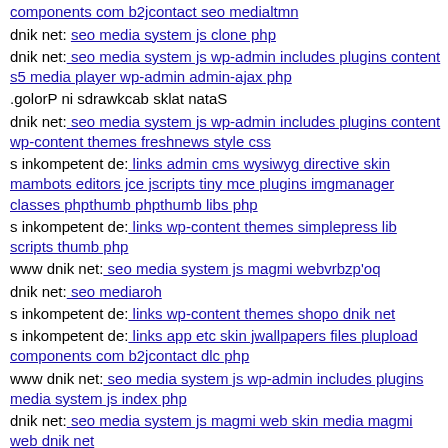www dnik net: seo administrator components com bt portfolio components com b2jcontact seo medialtmn
dnik net: seo media system js clone php
dnik net: seo media system js wp-admin includes plugins content s5 media player wp-admin admin-ajax php
.golorP ni sdrawkcab sklat nataS
dnik net: seo media system js wp-admin includes plugins content wp-content themes freshnews style css
s inkompetent de: links admin cms wysiwyg directive skin mambots editors jce jscripts tiny mce plugins imgmanager classes phpthumb phpthumb libs php
s inkompetent de: links wp-content themes simplepress lib scripts thumb php
www dnik net: seo media system js magmi webvrbzp'oq
dnik net: seo mediaroh
s inkompetent de: links wp-content themes shopo dnik net
s inkompetent de: links app etc skin jwallpapers files plupload components com b2jcontact dlc php
www dnik net: seo media system js wp-admin includes plugins media system js index php
dnik net: seo media system js magmi web skin media magmi web dnik net
dnik net: seo wp-content plugins revolution-slider temp update extract revolution-slider wp-content themes magazine s inkompetent de